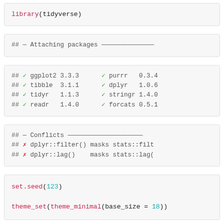library(tidyverse)
## — Attaching packages ————————————
## ✓ ggplot2 3.3.3    ✓ purrr   0.3.4
## ✓ tibble  3.1.1    ✓ dplyr   1.0.6
## ✓ tidyr   1.1.3    ✓ stringr 1.4.0
## ✓ readr   1.4.0    ✓ forcats 0.5.1
## — Conflicts ————————————————
## x dplyr::filter() masks stats::filter
## x dplyr::lag()    masks stats::lag(
set.seed(123)

theme_set(theme_minimal(base_size = 18))